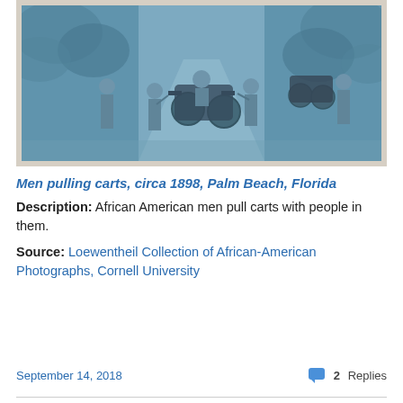[Figure (photo): Antique cyanotype-style blue-toned photograph showing African American men pulling wheeled carts/rickshaws with passengers on a paved path, circa 1898, Palm Beach, Florida. The photo has a cream/beige border typical of old photographic prints.]
Men pulling carts, circa 1898, Palm Beach, Florida
Description: African American men pull carts with people in them.
Source: Loewentheil Collection of African-American Photographs, Cornell University
September 14, 2018   2 Replies